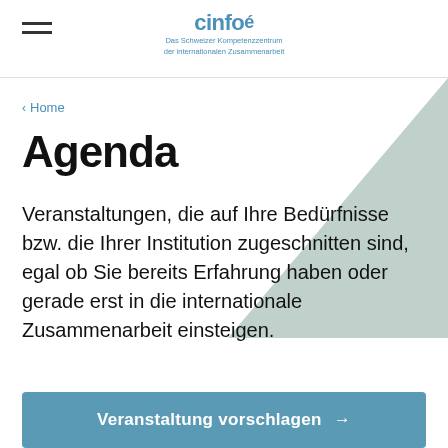cinfo
Das Schweizer Kompetenzzentrum
der internationalen Zusammenarbeit
< Home
Agenda
Veranstaltungen, die auf Ihre Bedürfnisse bzw. die Ihrer Institution zugeschnitten sind, egal ob Sie bereits Erfahrung haben oder gerade erst in die internationale Zusammenarbeit einsteigen.
Veranstaltung vorschlagen →